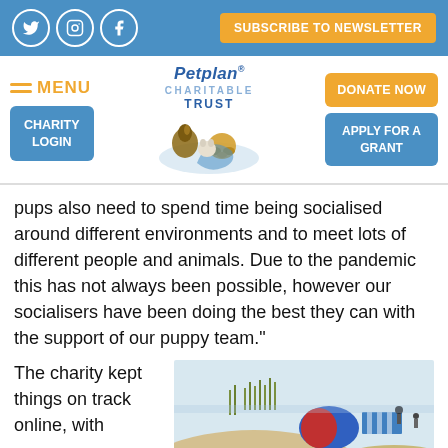Social icons (Twitter, Instagram, Facebook) | SUBSCRIBE TO NEWSLETTER | MENU | Petplan CHARITABLE TRUST logo | CHARITY LOGIN | DONATE NOW | APPLY FOR A GRANT
pups also need to spend time being socialised around different environments and to meet lots of different people and animals. Due to the pandemic this has not always been possible, however our socialisers have been doing the best they can with the support of our puppy team.”
The charity kept things on track online, with
[Figure (photo): Beach scene with people, sand dunes, and a colourful blue and red tent/shelter. A dark dog visible in the foreground.]